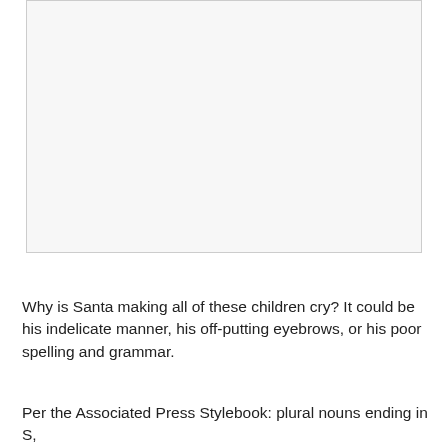[Figure (photo): A photograph area shown as a light gray box with a border — image content not visible in this crop.]
Why is Santa making all of these children cry? It could be his indelicate manner, his off-putting eyebrows, or his poor spelling and grammar.
Per the Associated Press Stylebook: plural nouns ending in S,